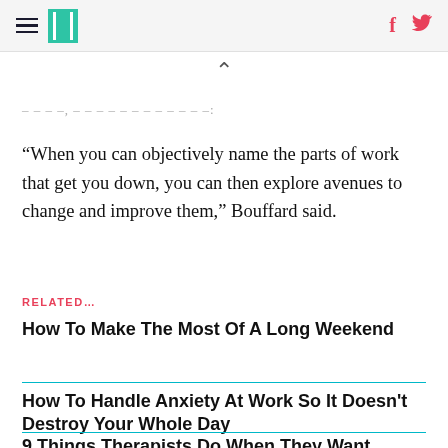HuffPost navigation header with hamburger menu, logo, Facebook and Twitter icons
“When you can objectively name the parts of work that get you down, you can then explore avenues to change and improve them,” Bouffard said.
RELATED…
How To Make The Most Of A Long Weekend
How To Handle Anxiety At Work So It Doesn't Destroy Your Whole Day
9 Things Therapists Do When They Want